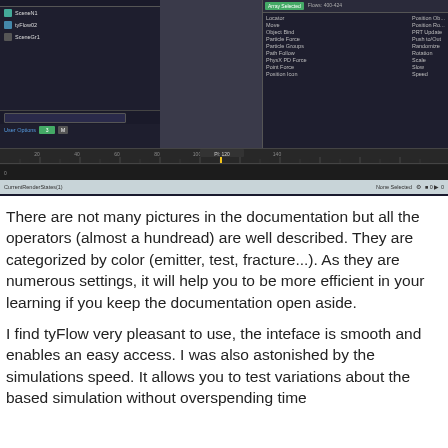[Figure (screenshot): 3D software interface (tyFlow in 3ds Max or similar) showing a car crash simulation with two metallic cars colliding in a dark viewport. Left panel shows object hierarchy, right panel shows operator list (Locator, Move, Object Bind, Particle Force, Particle Groups, Path Follow, PhysX PD Force, Point Force, Position Icon etc). Bottom shows timeline ruler with yellow playhead marker and a pink-tinted status/controller bar.]
There are not many pictures in the documentation but all the operators (almost a hundread) are well described. They are categorized by color (emitter, test, fracture...). As they are numerous settings, it will help you to be more efficient in your learning if you keep the documentation open aside.
I find tyFlow very pleasant to use, the inteface is smooth and enables an easy access. I was also astonished by the simulations speed. It allows you to test variations about the based simulation without overspending time...